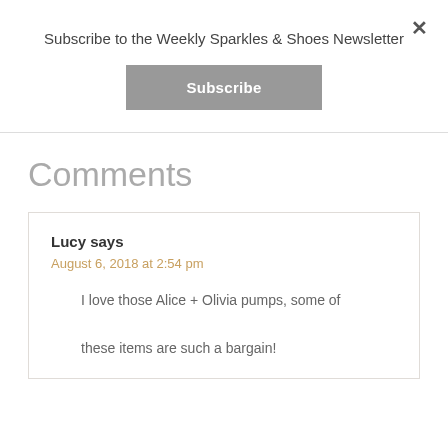×
Subscribe to the Weekly Sparkles & Shoes Newsletter
Subscribe
Comments
Lucy says
August 6, 2018 at 2:54 pm
I love those Alice + Olivia pumps, some of these items are such a bargain!